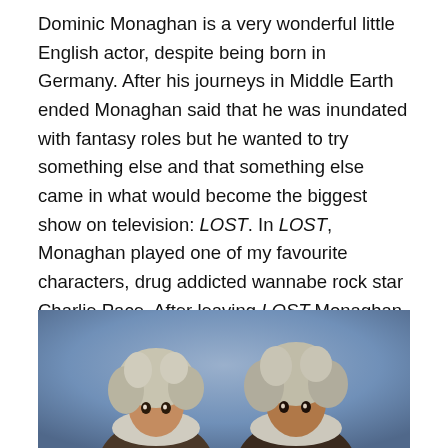Dominic Monaghan is a very wonderful little English actor, despite being born in Germany. After his journeys in Middle Earth ended Monaghan said that he was inundated with fantasy roles but he wanted to try something else and that something else came in what would become the biggest show on television: LOST. In LOST, Monaghan played one of my favourite characters, drug addicted wannabe rock star Charlie Pace. After leaving LOST Monaghan starred in FlashForward which was unfortunately short lived and he also starred in Goodnight Burbank which didn't go down too well.
[Figure (photo): Two figures with wild hair wearing fur-trimmed coats, photographed against a blue-grey background]